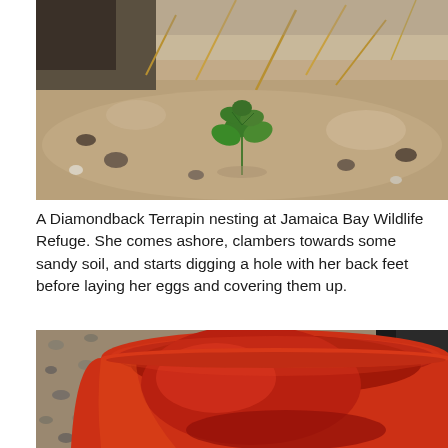[Figure (photo): Close-up photo of sandy soil with a small green plant/weed growing in it, with some dry grass/straw visible in the background. A Diamondback Terrapin nesting site at Jamaica Bay Wildlife Refuge.]
A Diamondback Terrapin nesting at Jamaica Bay Wildlife Refuge. She comes ashore, clambers towards some sandy soil, and starts digging a hole with her back feet before laying her eggs and covering them up.
[Figure (photo): Close-up photo looking into a red/orange plastic bucket, with gravel and rocky ground visible around it. A dark object (possibly a tool or equipment) is visible in the upper right corner, and a yellow object in the far right.]